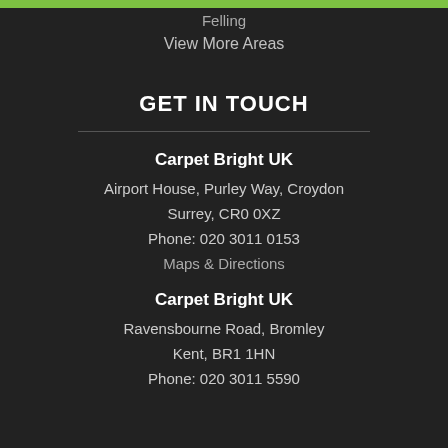Felling
View More Areas
GET IN TOUCH
Carpet Bright UK
Airport House, Purley Way, Croydon
Surrey, CR0 0XZ
Phone: 020 3011 0153
Maps & Directions
Carpet Bright UK
Ravensbourne Road, Bromley
Kent, BR1 1HN
Phone: 020 3011 5590